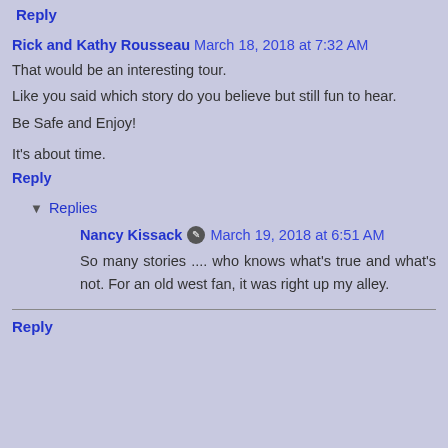Reply
Rick and Kathy Rousseau March 18, 2018 at 7:32 AM
That would be an interesting tour.
Like you said which story do you believe but still fun to hear.
Be Safe and Enjoy!
It's about time.
Reply
Replies
Nancy Kissack March 19, 2018 at 6:51 AM
So many stories .... who knows what's true and what's not. For an old west fan, it was right up my alley.
Reply